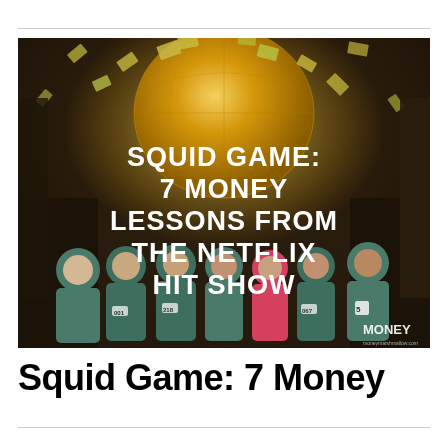[Figure (photo): A promotional image for a blog article about the Netflix show Squid Game. The image shows characters in teal tracksuits standing in a large industrial room. Overlaid text reads: 'SQUID GAME: 7 MONEY LESSONS FROM THE NETFLIX HIT SHOW'. A large glowing sphere made of money/banknotes hangs from the ceiling. A watermark at bottom right reads 'moneymarshmallow.com' and a 'MONEY' logo is visible.]
Squid Game: 7 Money Lessons from the Netflix Hit Show